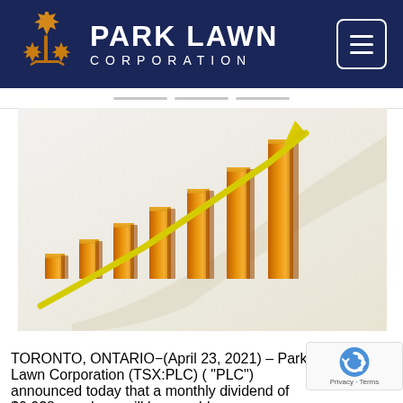[Figure (logo): Park Lawn Corporation logo with maple leaf icon on dark navy blue header background, with hamburger menu button on the right]
[Figure (illustration): Growing bar chart with golden/amber 3D bars increasing in height from left to right, with a bright yellow upward-trending arrow overlaid, on a light grey/white background. Decorative financial growth concept image.]
TORONTO, ONTARIO−(April 23, 2021) – Park Lawn Corporation (TSX:PLC) ( "PLC") announced today that a monthly dividend of $0.038 per share will be payable on